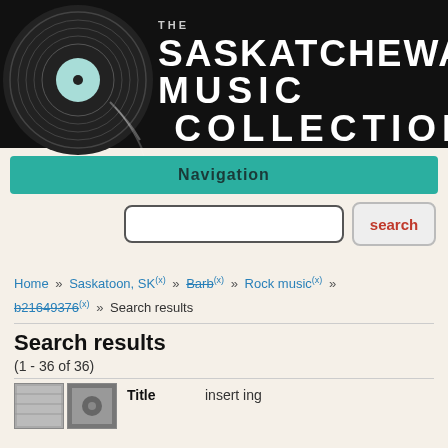[Figure (logo): The Saskatchewan Music Collection logo: vinyl record on black background with text THE SASKATCHEWAN MUSIC COLLECTION]
Navigation
Home » Saskatoon, SK (x) » Barb (x) » Rock music (x) » b21649376 (x) » Search results
Search results
(1 - 36 of 36)
|  | Title |  |
| --- | --- | --- |
| [thumbnail] | Title | insert ing |